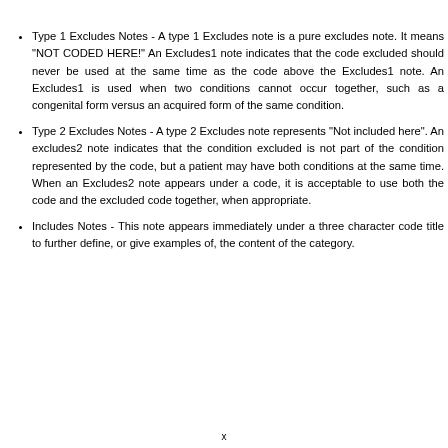Type 1 Excludes Notes - A type 1 Excludes note is a pure excludes note. It means "NOT CODED HERE!" An Excludes1 note indicates that the code excluded should never be used at the same time as the code above the Excludes1 note. An Excludes1 is used when two conditions cannot occur together, such as a congenital form versus an acquired form of the same condition.
Type 2 Excludes Notes - A type 2 Excludes note represents "Not included here". An excludes2 note indicates that the condition excluded is not part of the condition represented by the code, but a patient may have both conditions at the same time. When an Excludes2 note appears under a code, it is acceptable to use both the code and the excluded code together, when appropriate.
Includes Notes - This note appears immediately under a three character code title to further define, or give examples of, the content of the category.
x